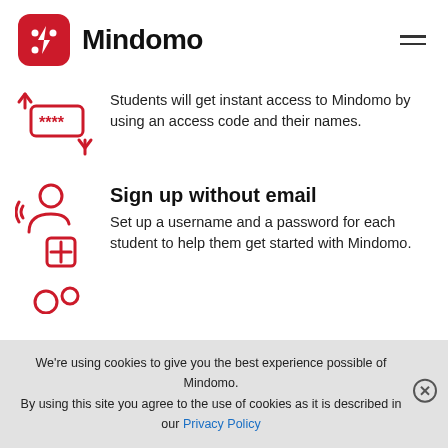Mindomo
[Figure (illustration): Red line-art icon of a password/access code box with asterisks (****) and decorative arrows]
Students will get instant access to Mindomo by using an access code and their names.
[Figure (illustration): Red line-art icon of a person silhouette with a plus/cross symbol, representing sign up]
Sign up without email
Set up a username and a password for each student to help them get started with Mindomo.
[Figure (illustration): Partial red icon at bottom, partially visible]
We're using cookies to give you the best experience possible of Mindomo. By using this site you agree to the use of cookies as it is described in our Privacy Policy